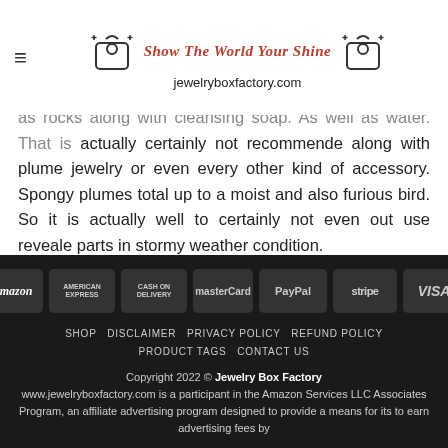jewelryboxfactory.com — Show The World Your Shine
Pointer 1- … as rocks along with cleansing soap. As well as water. That is actually certainly not recommende along with plume jewelry or even every other kind of accessory. Spongy plumes total up to a moist and also furious bird. So it is actually well to certainly not even out use reveale parts in stormy weather condition.
[Figure (logo): Payment method logos: amazon, American Express, Cash on Delivery, MasterCard, PayPal, Stripe, VISA]
SHOP  DISCLAIMER  PRIVACY POLICY  REFUND POLICY  PRODUCT TAGS  CONTACT US
Copyright 2022 © Jewelry Box Factory
www.jewelryboxfactory.com is a participant in the Amazon Services LLC Associates Program, an affiliate advertising program designed to provide a means for its to earn advertising fees by...